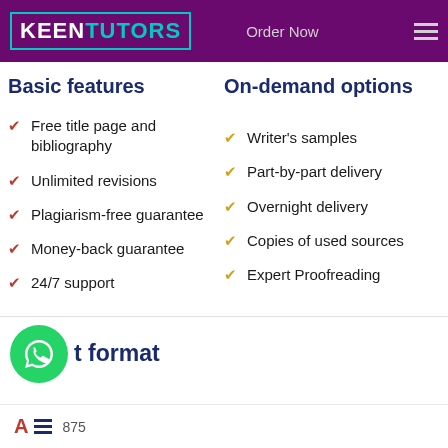KEEN TUTORS  Order Now
Basic features
On-demand options
Free title page and bibliography
Unlimited revisions
Plagiarism-free guarantee
Money-back guarantee
24/7 support
Writer's samples
Part-by-part delivery
Overnight delivery
Copies of used sources
Expert Proofreading
t format
875